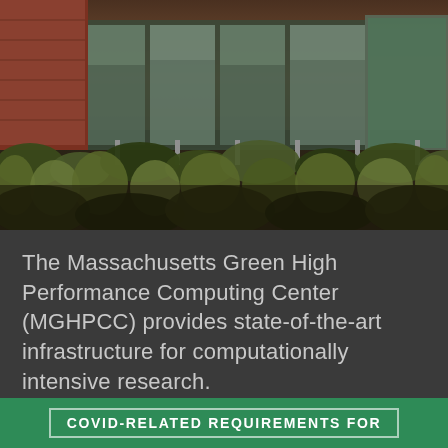[Figure (photo): Exterior photo of the Massachusetts Green High Performance Computing Center (MGHPCC) building, showing a modern facility with large glass windows, brick facade, ornamental grasses and shrubs in the foreground, taken at dusk/evening.]
The Massachusetts Green High Performance Computing Center (MGHPCC) provides state-of-the-art infrastructure for computationally intensive research.
COVID-RELATED REQUIREMENTS FOR